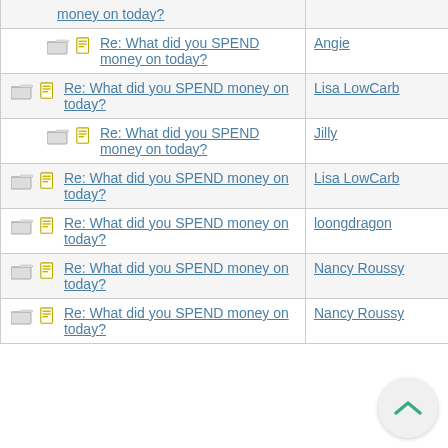| Topic | Author | Date |
| --- | --- | --- |
| Re: What did you SPEND money on today? (indented, partial) | Angie | 05/22/13 08:27 PM |
| Re: What did you SPEND money on today? | Lisa LowCarb | 05/22/13 01:19 AM |
| Re: What did you SPEND money on today? (indented) | Jilly | 05/22/13 01:26 AM |
| Re: What did you SPEND money on today? | Lisa LowCarb | 05/22/13 01:20 AM |
| Re: What did you SPEND money on today? | loongdragon | 05/22/13 05:09 AM |
| Re: What did you SPEND money on today? | Nancy Roussy | 05/23/13 03:20 PM |
| Re: What did you SPEND money on today? | Nancy Roussy | 05/27/13 01:24 PM |